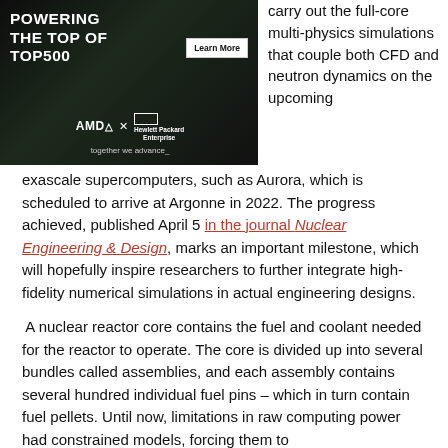[Figure (photo): Advertisement image: AMD x Hewlett Packard Enterprise 'Powering the Top of TOP500' ad with dark server room background, Learn More button, AMD and HPE logos, 'together we advance_' tagline]
carry out the full-core multi-physics simulations that couple both CFD and neutron dynamics on the upcoming exascale supercomputers, such as Aurora, which is scheduled to arrive at Argonne in 2022. The progress achieved, published April 5 in the journal Nuclear Engineering & Design, marks an important milestone, which will hopefully inspire researchers to further integrate high-fidelity numerical simulations in actual engineering designs.
A nuclear reactor core contains the fuel and coolant needed for the reactor to operate. The core is divided up into several bundles called assemblies, and each assembly contains several hundred individual fuel pins – which in turn contain fuel pellets. Until now, limitations in raw computing power had constrained models, forcing them to